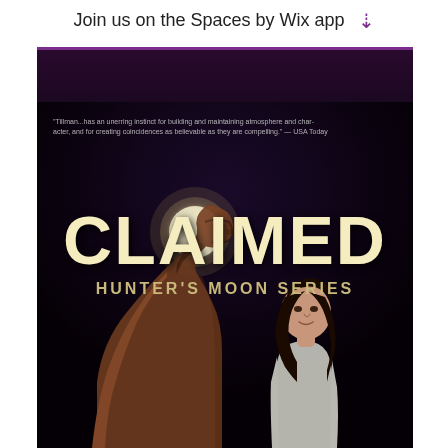Join us on the Spaces by Wix app ↓
[Figure (photo): Book cover for 'Claimed: Hunter's Moon Series'. Dark background with night sky, a large moon, a horse in the foreground, and a woman with dark hair in the lower right. Title 'CLAIMED' in large cream/yellow letters, subtitle 'HUNTER'S MOON SERIES' below. A review quote appears at the top of the cover.]